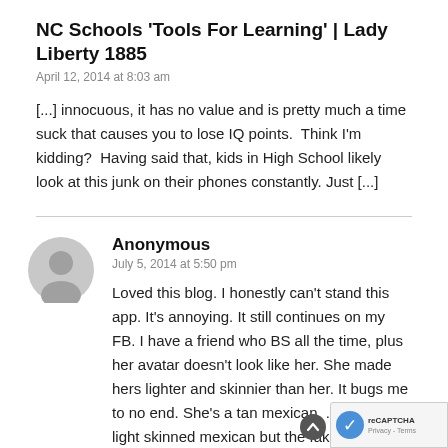NC Schools 'Tools For Learning' | Lady Liberty 1885
April 12, 2014 at 8:03 am
[...] innocuous, it has no value and is pretty much a time suck that causes you to lose IQ points.  Think I'm kidding?  Having said that, kids in High School likely look at this junk on their phones constantly. Just [...]
Anonymous
July 5, 2014 at 5:50 pm
Loved this blog. I honestly can't stand this app. It's annoying. It still continues on my FB. I have a friend who BS all the time, plus her avatar doesn't look like her. She made hers lighter and skinnier than her. It bugs me to no end. She's a tan mexican. .I'm not a light skinned mexican but the fakeness is lame.